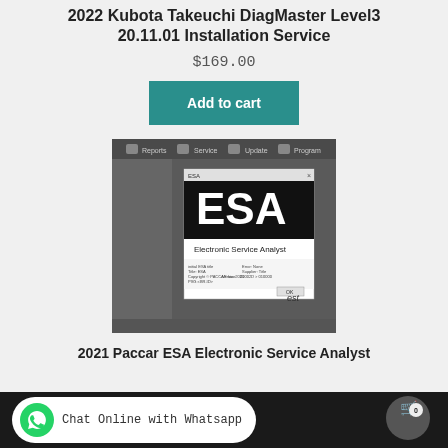2022 Kubota Takeuchi DiagMaster Level3 20.11.01 Installation Service
$169.00
Add to cart
[Figure (screenshot): Screenshot of ESA (Electronic Service Analyst) diagnostic software splash screen showing the software logo and version information dialog]
2021 Paccar ESA Electronic Service Analyst
Chat Online with Whatsapp